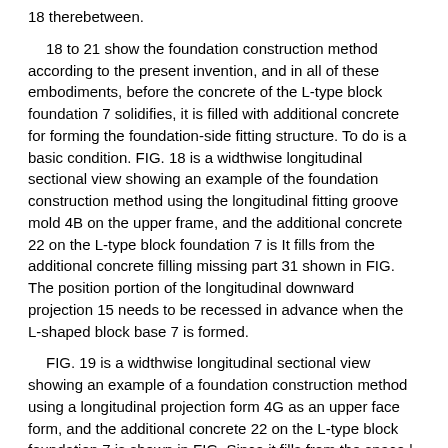18 therebetween.
18 to 21 show the foundation construction method according to the present invention, and in all of these embodiments, before the concrete of the L-type block foundation 7 solidifies, it is filled with additional concrete for forming the foundation-side fitting structure. To do is a basic condition. FIG. 18 is a widthwise longitudinal sectional view showing an example of the foundation construction method using the longitudinal fitting groove mold 4B on the upper frame, and the additional concrete 22 on the L-type block foundation 7 is It fills from the additional concrete filling missing part 31 shown in FIG. The position portion of the longitudinal downward projection 15 needs to be recessed in advance when the L-shaped block base 7 is formed.
FIG. 19 is a widthwise longitudinal sectional view showing an example of a foundation construction method using a longitudinal projection form 4G as an upper face form, and the additional concrete 22 on the L-type block foundation 7 is shown in FIG. Since it fills from the space | interval part 18 shown in 13 and the longitudinal direction